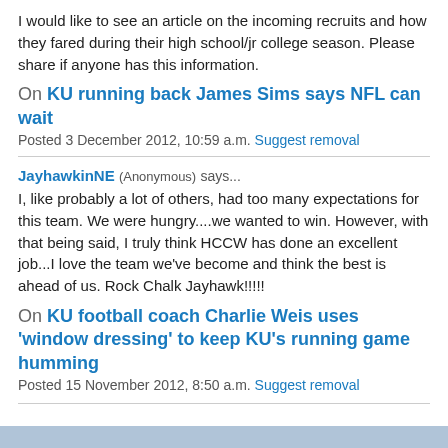I would like to see an article on the incoming recruits and how they fared during their high school/jr college season. Please share if anyone has this information.
On KU running back James Sims says NFL can wait
Posted 3 December 2012, 10:59 a.m. Suggest removal
JayhawkinNE (Anonymous) says...
I, like probably a lot of others, had too many expectations for this team. We were hungry....we wanted to win. However, with that being said, I truly think HCCW has done an excellent job...I love the team we've become and think the best is ahead of us. Rock Chalk Jayhawk!!!!!
On KU football coach Charlie Weis uses 'window dressing' to keep KU's running game humming
Posted 15 November 2012, 8:50 a.m. Suggest removal